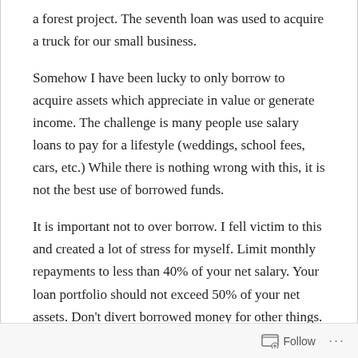a forest project. The seventh loan was used to acquire a truck for our small business.
Somehow I have been lucky to only borrow to acquire assets which appreciate in value or generate income. The challenge is many people use salary loans to pay for a lifestyle (weddings, school fees, cars, etc.) While there is nothing wrong with this, it is not the best use of borrowed funds.
It is important not to over borrow. I fell victim to this and created a lot of stress for myself. Limit monthly repayments to less than 40% of your net salary. Your loan portfolio should not exceed 50% of your net assets. Don't divert borrowed money for other things.
Follow ···